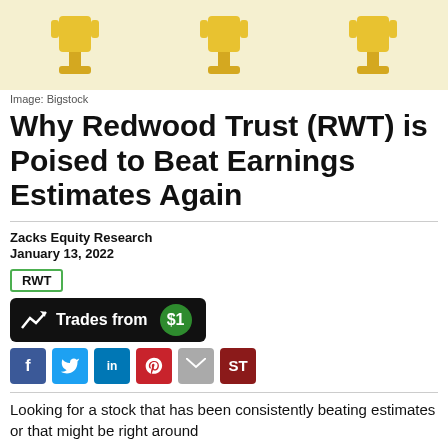[Figure (illustration): Three gold trophy icons on a light yellow background]
Image: Bigstock
Why Redwood Trust (RWT) is Poised to Beat Earnings Estimates Again
Zacks Equity Research
January 13, 2022
RWT
[Figure (infographic): Black banner button: Trades from $1 (with chart icon and green circle $1 badge)]
[Figure (infographic): Social sharing icons: Facebook, Twitter, LinkedIn, Pinterest, Email, ST]
Looking for a stock that has been consistently beating estimates or that might be right around